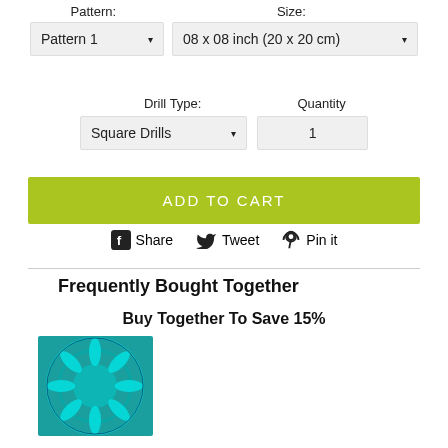Pattern:
Size:
Pattern 1 ▾
08 x 08 inch (20 x 20 cm) ▾
Drill Type:
Quantity
Square Drills ▾
1
ADD TO CART
Share
Tweet
Pin it
Frequently Bought Together
Buy Together To Save 15%
[Figure (photo): Teal/turquoise mandala diamond painting product image]